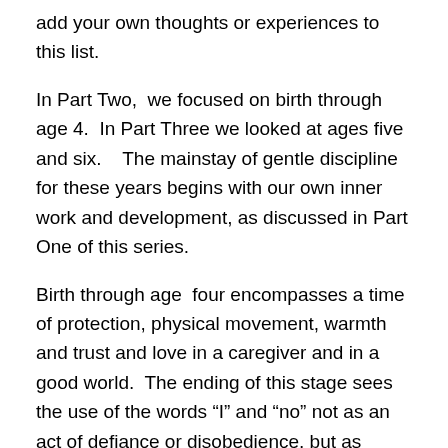add your own thoughts or experiences to this list.
In Part Two,  we focused on birth through age 4.  In Part Three we looked at ages five and six.    The mainstay of gentle discipline for these years begins with our own inner work and development, as discussed in Part One of this series.
Birth through age  four encompasses a time of protection, physical movement, warmth and trust and love in a caregiver and in a good world.  The ending of this stage sees the use of the words “I” and “no” not as an act of defiance or disobedience, but as growth into individuality.  Ages five and six also sees the same  importance of protection, physical movement, warmth, and love and trust in a caregiver continue.  However, play and social experiences now expands during these years, (although